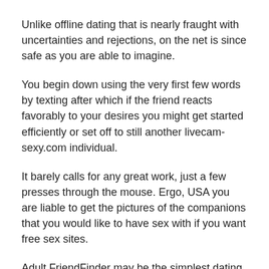Unlike offline dating that is nearly fraught with uncertainties and rejections, on the net is since safe as you are able to imagine.
You begin down using the very first few words by texting after which if the friend reacts favorably to your desires you might get started efficiently or set off to still another livecam-sexy.com individual.
It barely calls for any great work, just a few presses through the mouse. Ergo, USA you are liable to get the pictures of the companions that you would like to have sex with if you want free sex sites.
Adult FriendFinder may be the simplest dating website around for finding hookups and fucks that are quick.
Continue reading